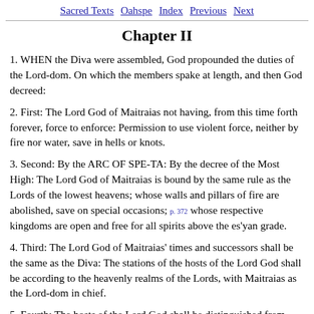Sacred Texts  Oahspe  Index  Previous  Next
Chapter II
1. WHEN the Diva were assembled, God propounded the duties of the Lord-dom. On which the members spake at length, and then God decreed:
2. First: The Lord God of Maitraias not having, from this time forth forever, force to enforce: Permission to use violent force, neither by fire nor water, save in hells or knots.
3. Second: By the ARC OF SPE-TA: By the decree of the Most High: The Lord God of Maitraias is bound by the same rule as the Lords of the lowest heavens; whose walls and pillars of fire are abolished, save on special occasions; p. 372 whose respective kingdoms are open and free for all spirits above the es'yan grade.
4. Third: The Lord God of Maitraias' times and successors shall be the same as the Diva: The stations of the hosts of the Lord God shall be according to the heavenly realms of the Lords, with Maitraias as the Lord-dom in chief.
5. Fourth: The hosts of the Lord God shall be distinguished from